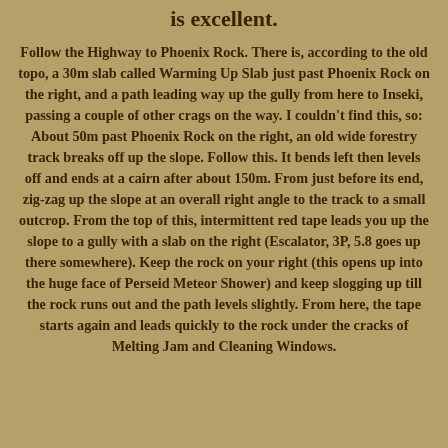is excellent.
Follow the Highway to Phoenix Rock. There is, according to the old topo, a 30m slab called Warming Up Slab just past Phoenix Rock on the right, and a path leading way up the gully from here to Inseki, passing a couple of other crags on the way. I couldn't find this, so: About 50m past Phoenix Rock on the right, an old wide forestry track breaks off up the slope. Follow this. It bends left then levels off and ends at a cairn after about 150m. From just before its end, zig-zag up the slope at an overall right angle to the track to a small outcrop. From the top of this, intermittent red tape leads you up the slope to a gully with a slab on the right (Escalator, 3P, 5.8 goes up there somewhere). Keep the rock on your right (this opens up into the huge face of Perseid Meteor Shower) and keep slogging up till the rock runs out and the path levels slightly. From here, the tape starts again and leads quickly to the rock under the cracks of Melting Jam and Cleaning Windows.